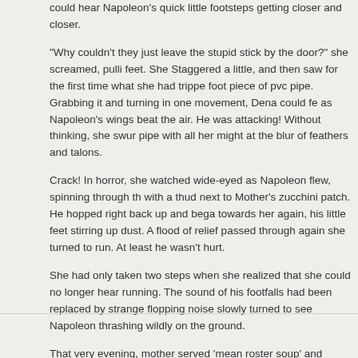could hear Napoleon’s quick little footsteps getting closer and closer.
“Why couldn’t they just leave the stupid stick by the door?” she screamed, pulli feet. She Staggered a little, and then saw for the first time what she had trippe foot piece of pvc pipe. Grabbing it and turning in one movement, Dena could fe as Napoleon’s wings beat the air. He was attacking! Without thinking, she swur pipe with all her might at the blur of feathers and talons.
Crack! In horror, she watched wide-eyed as Napoleon flew, spinning through th with a thud next to Mother’s zucchini patch. He hopped right back up and bega towards her again, his little feet stirring up dust. A flood of relief passed through again she turned to run. At least he wasn’t hurt.
She had only taken two steps when she realized that she could no longer hear running. The sound of his footfalls had been replaced by strange flopping noise slowly turned to see Napoleon thrashing wildly on the ground.
That very evening, mother served ‘mean roster soup’ and everyone, even Dadd the best they had ever had.
Also posted in Writing – 0 Comments